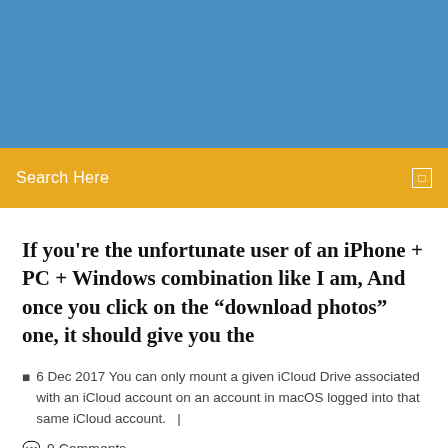[Figure (photo): Blue banner/header image at top of page]
Search Here
If you're the unfortunate user of an iPhone + PC + Windows combination like I am, And once you click on the “download photos” one, it should give you the
6 Dec 2017 You can only mount a given iCloud Drive associated with an iCloud account on an account in macOS logged into that same iCloud account.   |
9 Comments